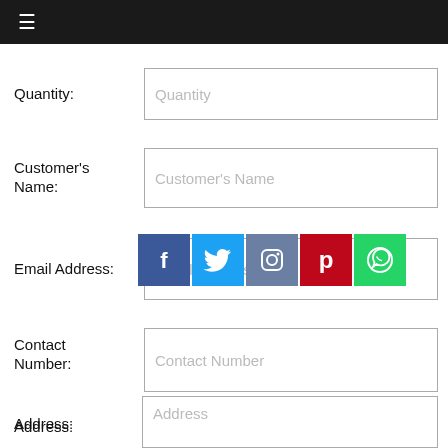≡
Quantity:
Customer's Name:
Email Address:
[Figure (infographic): Social media icons: Facebook (blue), Twitter (blue), Instagram (steel blue), Pinterest (red), WhatsApp (green)]
Contact Number:
Address: